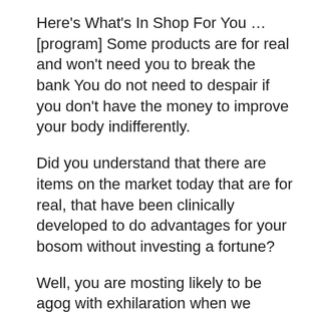Here's What's In Shop For You … [program] Some products are for real and won't need you to break the bank You do not need to despair if you don't have the money to improve your body indifferently.
Did you understand that there are items on the market today that are for real, that have been clinically developed to do advantages for your bosom without investing a fortune?
Well, you are mosting likely to be agog with exhilaration when we inform you what Bust Actives can do for you …
… What it is has actually done for other women as well, remember this name, it's